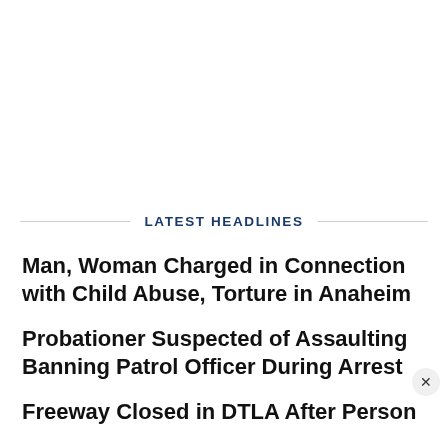LATEST HEADLINES
Man, Woman Charged in Connection with Child Abuse, Torture in Anaheim
Probationer Suspected of Assaulting Banning Patrol Officer During Arrest
Freeway Closed in DTLA After Person